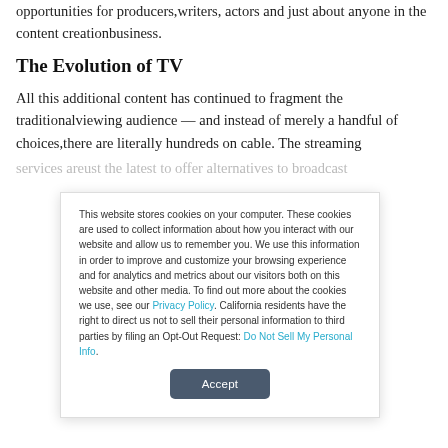opportunities for producers,writers, actors and just about anyone in the content creationbusiness.
The Evolution of TV
All this additional content has continued to fragment the traditionalviewing audience — and instead of merely a handful of choices,there are literally hundreds on cable. The streaming services areust the latest to offer alternatives to broadcast
This website stores cookies on your computer. These cookies are used to collect information about how you interact with our website and allow us to remember you. We use this information in order to improve and customize your browsing experience and for analytics and metrics about our visitors both on this website and other media. To find out more about the cookies we use, see our Privacy Policy. California residents have the right to direct us not to sell their personal information to third parties by filing an Opt-Out Request: Do Not Sell My Personal Info.
Accept